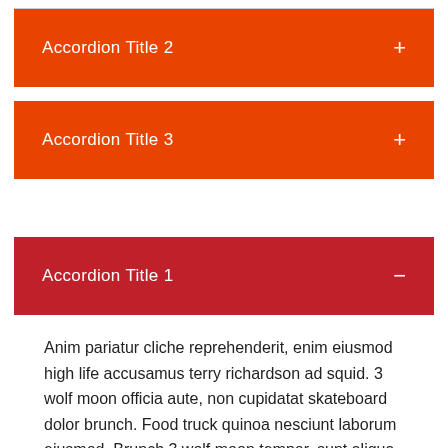Accordion Title 2
Accordion Title 3
Accordion Title 1
Anim pariatur cliche reprehenderit, enim eiusmod high life accusamus terry richardson ad squid. 3 wolf moon officia aute, non cupidatat skateboard dolor brunch. Food truck quinoa nesciunt laborum eiusmod. Brunch 3 wolf moon tempor, sunt aliqua put a bird on it squid single-origin coffee